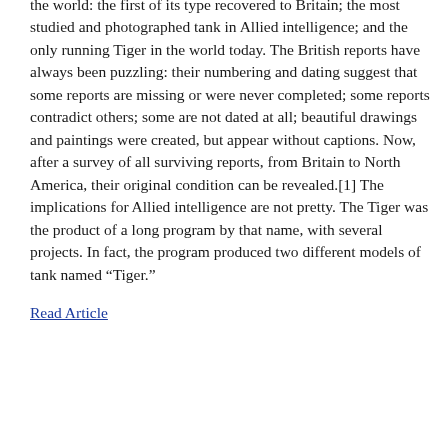the world: the first of its type recovered to Britain; the most studied and photographed tank in Allied intelligence; and the only running Tiger in the world today. The British reports have always been puzzling: their numbering and dating suggest that some reports are missing or were never completed; some reports contradict others; some are not dated at all; beautiful drawings and paintings were created, but appear without captions. Now, after a survey of all surviving reports, from Britain to North America, their original condition can be revealed.[1] The implications for Allied intelligence are not pretty. The Tiger was the product of a long program by that name, with several projects. In fact, the program produced two different models of tank named “Tiger.”
Read Article